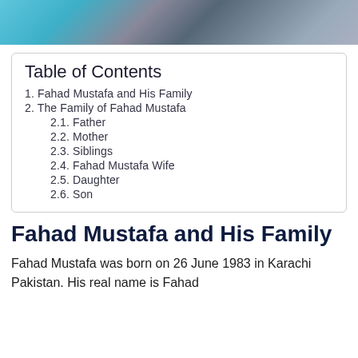[Figure (photo): A photo strip showing people outdoors, cropped at the top of the page. Teal/cyan clothing visible at the top.]
| Table of Contents |
| --- |
| 1. Fahad Mustafa and His Family |
| 2. The Family of Fahad Mustafa |
| 2.1. Father |
| 2.2. Mother |
| 2.3. Siblings |
| 2.4. Fahad Mustafa Wife |
| 2.5. Daughter |
| 2.6. Son |
Fahad Mustafa and His Family
Fahad Mustafa was born on 26 June 1983 in Karachi Pakistan. His real name is Fahad